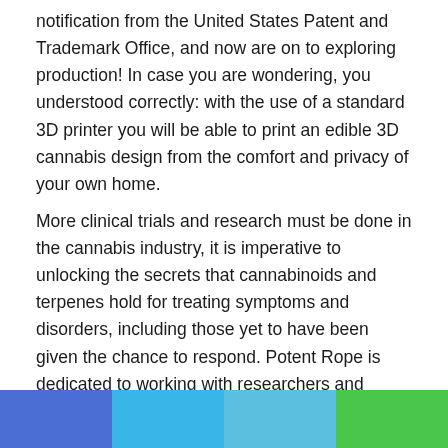notification from the United States Patent and Trademark Office, and now are on to exploring production! In case you are wondering, you understood correctly: with the use of a standard 3D printer you will be able to print an edible 3D cannabis design from the comfort and privacy of your own home.
More clinical trials and research must be done in the cannabis industry, it is imperative to unlocking the secrets that cannabinoids and terpenes hold for treating symptoms and disorders, including those yet to have been given the chance to respond. Potent Rope is dedicated to working with researchers and scientific minds to propel the studies that must be executed. With this scientifically based evidence we can demystify and debunk the current stigma of one of the world's oldest medications.